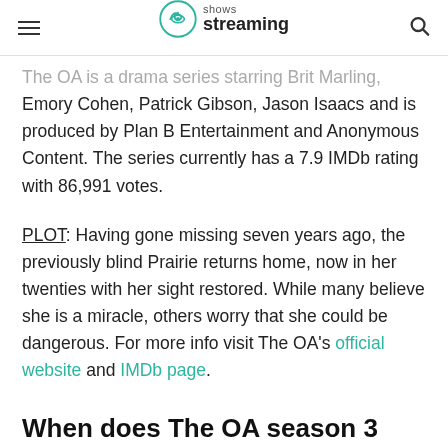shows streaming
The OA is a drama series starring Brit Marling, Emory Cohen, Patrick Gibson, Jason Isaacs and is produced by Plan B Entertainment and Anonymous Content. The series currently has a 7.9 IMDb rating with 86,991 votes.
PLOT: Having gone missing seven years ago, the previously blind Prairie returns home, now in her twenties with her sight restored. While many believe she is a miracle, others worry that she could be dangerous. For more info visit The OA's official website and IMDb page.
When does The OA season 3